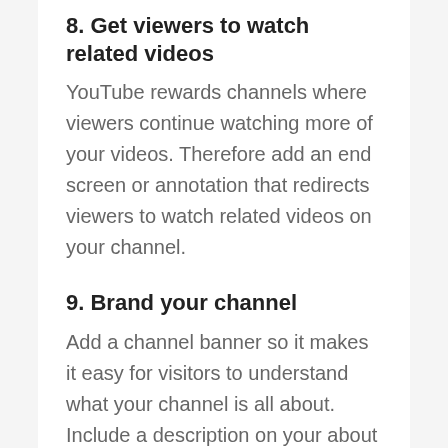8. Get viewers to watch related videos
YouTube rewards channels where viewers continue watching more of your videos. Therefore add an end screen or annotation that redirects viewers to watch related videos on your channel.
9. Brand your channel
Add a channel banner so it makes it easy for visitors to understand what your channel is all about. Include a description on your about page that encapsulates the content of your entire channel. Also include links on your